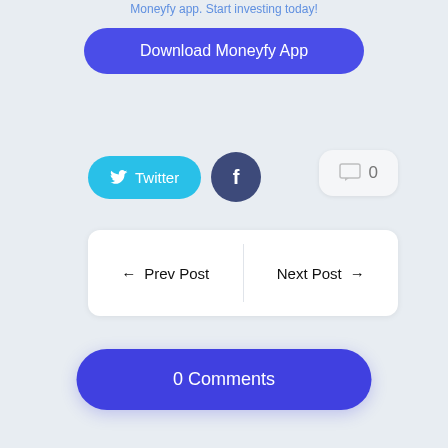Moneyfy app. Start investing today!
Download Moneyfy App
Twitter
f
0
← Prev Post
Next Post →
0 Comments